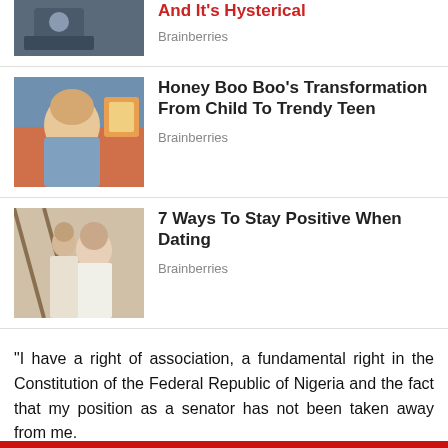[Figure (photo): Partial top article image, person sitting, cut off at top]
And It's Hysterical
Brainberries
[Figure (photo): Photo of a young woman with light hair in a blue shirt sitting on a red couch with colorful art behind her - Honey Boo Boo]
Honey Boo Boo's Transformation From Child To Trendy Teen
Brainberries
[Figure (photo): Photo of a couple, woman in white dress and man in white shirt, romantic scene near wooden railings]
7 Ways To Stay Positive When Dating
Brainberries
“I have a right of association, a fundamental right in the Constitution of the Federal Republic of Nigeria and the fact that my position as a senator has not been taken away from me.